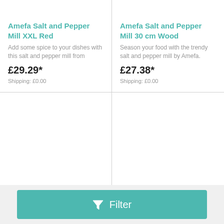Amefa Salt and Pepper Mill XXL Red
Add some spice to your dishes with this salt and pepper mill from
£29.29*
Shipping: £0.00
Amefa Salt and Pepper Mill 30 cm Wood
Season your food with the trendy salt and pepper mill by Amefa.
£27.38*
Shipping: £0.00
Filter